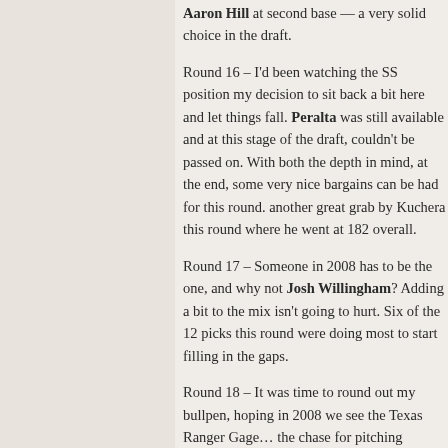Aaron Hill at second base — a very solid choice in the draft.
Round 16 – I'd been watching the SS position, my decision to sit back a bit here and let things fall. Peralta was still available and at this stage of the draft, couldn't be passed on. With both the depth in mind, and end, some very nice bargains can be had for this round. another great grab by Kuchera this round who went at 182 overall.
Round 17 – Someone in 2008 has to be the one, and why not Josh Willingham? Adding a bit to the mix isn't going to hurt. Six of the 12 picks this round were doing most to start filling in the gaps.
Round 18 – It was time to round out my bullpen, and hoping in 2008 we see the Texas Ranger Gage... the chase for pitching continues, with nine more...
Round 19 – The end is drawing near. It was ti...